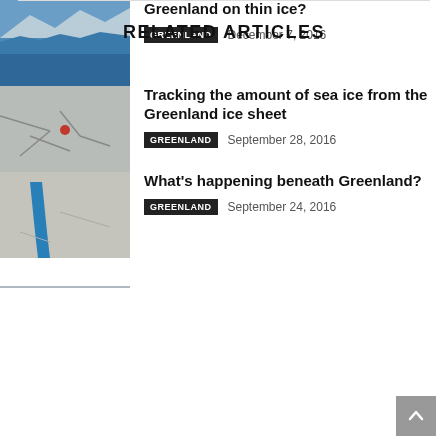RELATED ARTICLES
[Figure (photo): Aerial view of Greenland coastline with ice and blue water, mountains in background]
Greenland on thin ice?
GREENLAND   December 7, 2016
[Figure (photo): Aerial view of cracked sea ice with a red object visible]
Tracking the amount of sea ice from the Greenland ice sheet
GREENLAND   September 28, 2016
[Figure (photo): Ice landscape with a blue meltwater stream cutting through white ice]
What's happening beneath Greenland?
GREENLAND   September 24, 2016